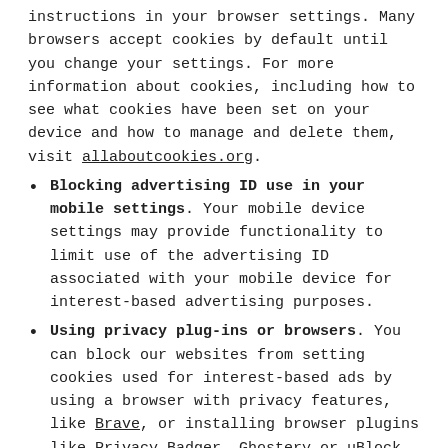instructions in your browser settings. Many browsers accept cookies by default until you change your settings. For more information about cookies, including how to see what cookies have been set on your device and how to manage and delete them, visit allaboutcookies.org.
Blocking advertising ID use in your mobile settings. Your mobile device settings may provide functionality to limit use of the advertising ID associated with your mobile device for interest-based advertising purposes.
Using privacy plug-ins or browsers. You can block our websites from setting cookies used for interest-based ads by using a browser with privacy features, like Brave, or installing browser plugins like Privacy Badger, Ghostery or uBlock Origin, and configuring them to block third party cookies/trackers.
Platform opt-outs. The following advertising partners offer one or more ways to opt out of...